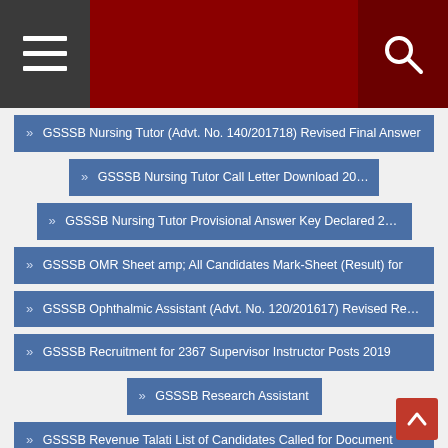Navigation header with menu and search icons
» GSSSB Nursing Tutor (Advt. No. 140/201718) Revised Final Answer
» GSSSB Nursing Tutor Call Letter Download 2018
» GSSSB Nursing Tutor Provisional Answer Key Declared 2018
» GSSSB OMR Sheet amp; All Candidates Mark-Sheet (Result) for
» GSSSB Ophthalmic Assistant (Advt. No. 120/201617) Revised Result
» GSSSB Recruitment for 2367 Supervisor Instructor Posts 2019
» GSSSB Research Assistant
» GSSSB Revenue Talati List of Candidates Called for Document
» GSSSB Revised Document Verification Programme for Statistical
» GSSSB Royalty Inspector Final Answer Key (01-04-2018)
» GSSSB Senior Clerk (Advt. No. 98/201617) Selection List for
» GSSSB Senior Clerk and Other Posts All Candidates Mark-Sheet